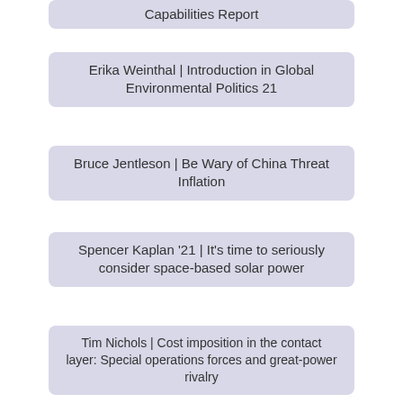Capabilities Report
Erika Weinthal | Introduction in Global Environmental Politics 21
Bruce Jentleson | Be Wary of China Threat Inflation
Spencer Kaplan '21 | It's time to seriously consider space-based solar power
Tim Nichols | Cost imposition in the contact layer: Special operations forces and great-power rivalry
Elliot Mamet, PhD '22 | Representation on the Periphery: